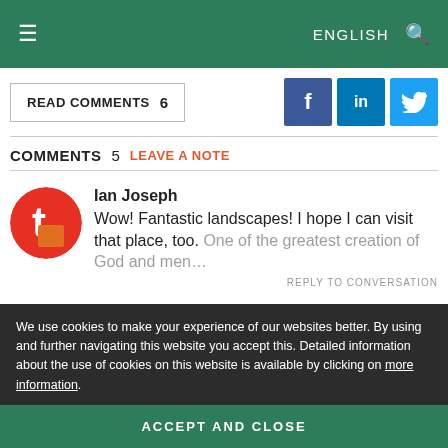≡  ENGLISH 🔍
READ COMMENTS  6
[Figure (other): Facebook, LinkedIn, Twitter social share icons]
COMMENTS  5  LEAVE A NOTE
[Figure (other): User avatar: red circle with white letter t and orange square]
Ian Joseph
Wow! Fantastic landscapes! I hope I can visit that place, too. One of the greatest creation of God and men…
REPLY TO CONVERSATION
We use cookies to make your experience of our websites better. By using and further navigating this website you accept this. Detailed information about the use of cookies on this website is available by clicking on more information.
ACCEPT AND CLOSE